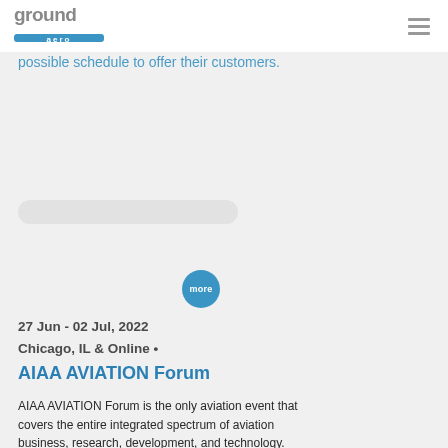ground aero
possible schedule to offer their customers.
[Figure (other): Circular 'more' button in blue]
27 Jun - 02 Jul, 2022
Chicago, IL & Online •
AIAA AVIATION Forum
AIAA AVIATION Forum is the only aviation event that covers the entire integrated spectrum of aviation business, research, development, and technology.
Papers, Papers, Papers